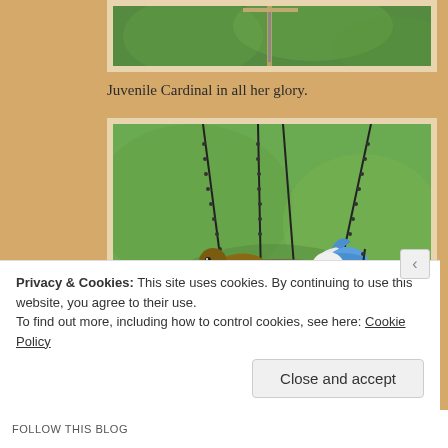[Figure (photo): Top portion of a photo showing a bird feeder post against green foliage background]
Juvenile Cardinal in all her glory.
[Figure (photo): Two birds in a hanging wicker basket bird feeder filled with birdseed — one brown sparrow and one blue jay figurine/bird, suspended by black chains against a green background]
Privacy & Cookies: This site uses cookies. By continuing to use this website, you agree to their use.
To find out more, including how to control cookies, see here: Cookie Policy
Close and accept